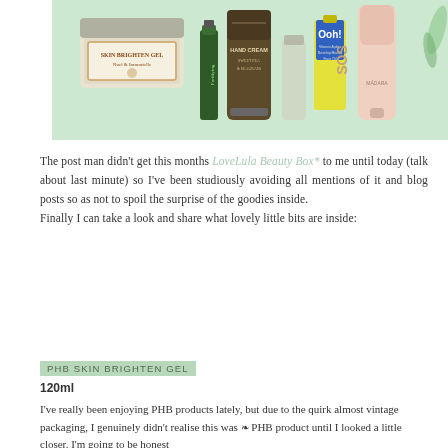[Figure (photo): Photo of beauty box products including a PHB Skin Brighten Gel jar, a green bottle labeled Fortifying, a hand cream tube, a yellow oil bottle labeled Ooh!, and a pink SOS tube, arranged on a light green background.]
The post man didn't get this months LoveLula Beauty Box* to me until today (talk about last minute) so I've been studiously avoiding all mentions of it and blog posts so as not to spoil the surprise of the goodies inside.
Finally I can take a look and share what lovely little bits are inside:
PHB SKIN BRIGHTEN GEL
120ml
I've really been enjoying PHB products lately, but due to the quirk almost vintage packaging, I genuinely didn't realise this was a PHB product until I looked a little closer. I'm going to be honest